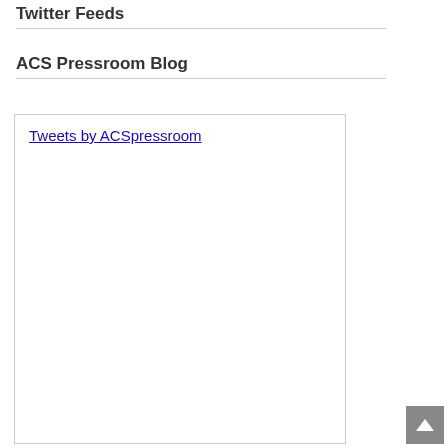Twitter Feeds
ACS Pressroom Blog
Tweets by ACSpressroom